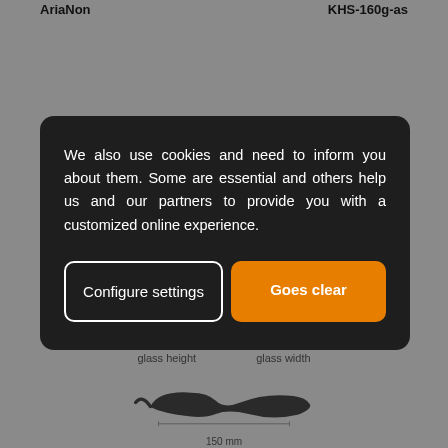AriaNon   KHS-160g-as
We also use cookies and need to inform you about them. Some are essential and others help us and our partners to provide you with a customized online experience.
Configure settings
Goes clear
glass height   glass width
[Figure (illustration): Side-view silhouette of a glasses/eyewear frame with a dimension line showing 150 mm]